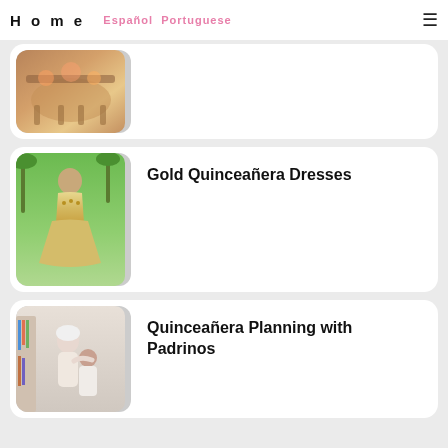Home  Español  Portuguese
[Figure (photo): Decorated event table with floral arrangements, glasses and orange/gold color theme — partially visible card at top]
[Figure (photo): Young woman in elaborate gold quinceañera ballgown with floral details, standing outdoors with palm trees]
Gold Quinceañera Dresses
[Figure (photo): Elderly woman with white hair and glasses hugging a young girl indoors near a bookshelf]
Quinceañera Planning with Padrinos